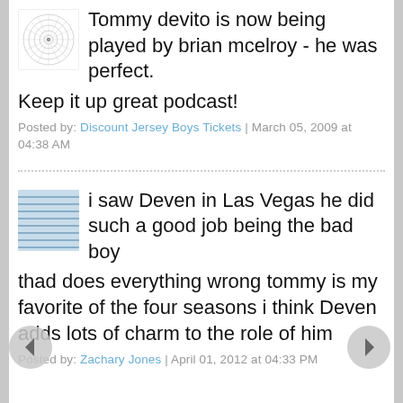Tommy devito is now being played by brian mcelroy - he was perfect. Keep it up great podcast!
Posted by: Discount Jersey Boys Tickets | March 05, 2009 at 04:38 AM
i saw Deven in Las Vegas he did such a good job being the bad boy thad does everything wrong tommy is my favorite of the four seasons i think Deven adds lots of charm to the role of him
Posted by: Zachary Jones | April 01, 2012 at 04:33 PM